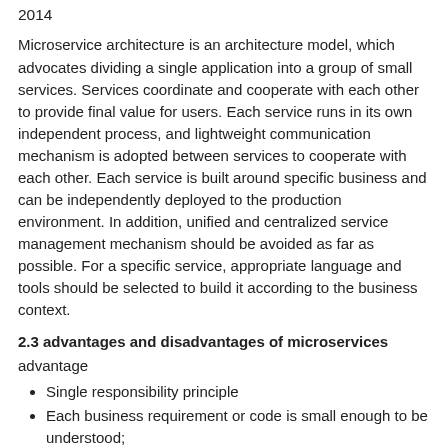2014
Microservice architecture is an architecture model, which advocates dividing a single application into a group of small services. Services coordinate and cooperate with each other to provide final value for users. Each service runs in its own independent process, and lightweight communication mechanism is adopted between services to cooperate with each other. Each service is built around specific business and can be independently deployed to the production environment. In addition, unified and centralized service management mechanism should be avoided as far as possible. For a specific service, appropriate language and tools should be selected to build it according to the business context.
2.3 advantages and disadvantages of microservices
advantage
Single responsibility principle
Each business requirement or code is small enough to be understood;
The development is simple and the development efficiency is improved. A service may be dedicated to only one thing;
Microservices can be developed independently by a